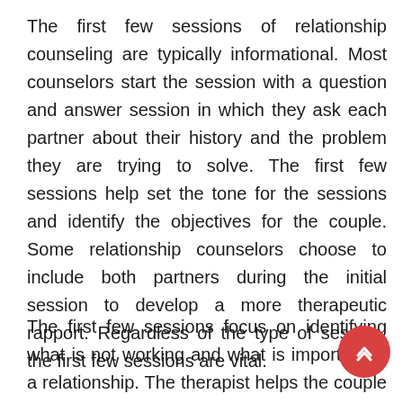The first few sessions of relationship counseling are typically informational. Most counselors start the session with a question and answer session in which they ask each partner about their history and the problem they are trying to solve. The first few sessions help set the tone for the sessions and identify the objectives for the couple. Some relationship counselors choose to include both partners during the initial session to develop a more therapeutic rapport. Regardless of the type of session, the first few sessions are vital.
The first few sessions focus on identifying what is not working and what is important in a relationship. The therapist helps the couple identify and address the problems that may be causing the relationship